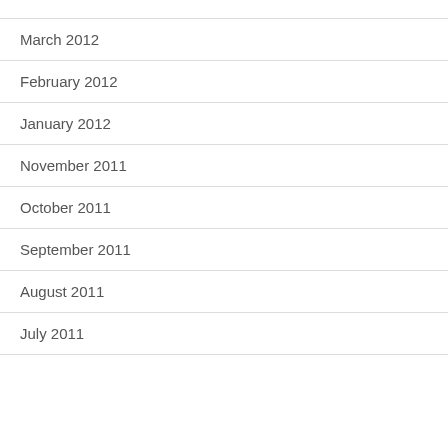March 2012
February 2012
January 2012
November 2011
October 2011
September 2011
August 2011
July 2011